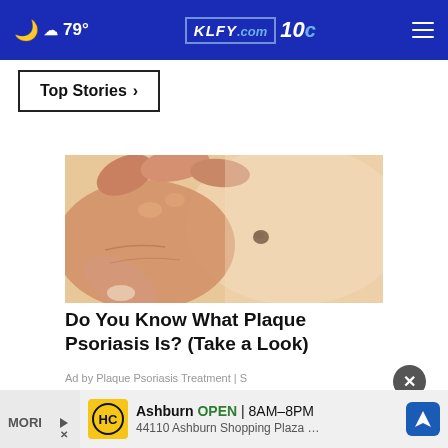79° KLFY.com 10
Top Stories ›
[Figure (photo): Close-up photo of a hand touching skin with a mole, related to plaque psoriasis article]
Do You Know What Plaque Psoriasis Is? (Take a Look)
Ad by Plaque Psoriasis Treatment | S
MORE
Ashburn OPEN | 8AM–8PM 44110 Ashburn Shopping Plaza …